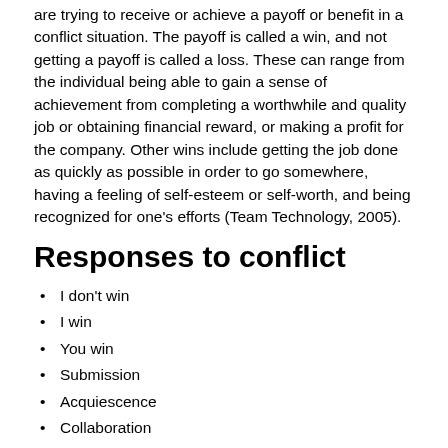are trying to receive or achieve a payoff or benefit in a conflict situation. The payoff is called a win, and not getting a payoff is called a loss. These can range from the individual being able to gain a sense of achievement from completing a worthwhile and quality job or obtaining financial reward, or making a profit for the company. Other wins include getting the job done as quickly as possible in order to go somewhere, having a feeling of self-esteem or self-worth, and being recognized for one's efforts (Team Technology, 2005).
Responses to conflict
I don't win
I win
You win
Submission
Acquiescence
Collaboration
Assertiveness